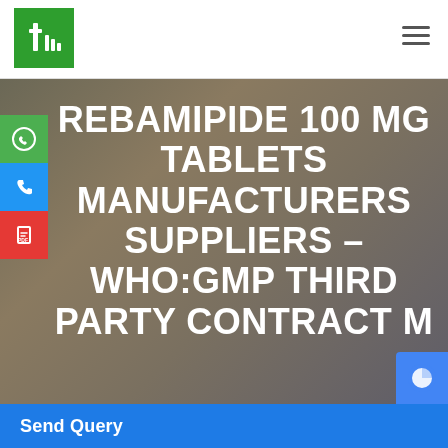[Figure (logo): Green box logo with white 't' and 'h' letter marks]
REBAMIPIDE 100 MG TABLETS MANUFACTURERS SUPPLIERS – WHO:GMP THIRD PARTY CONTRACT M...
Send Query